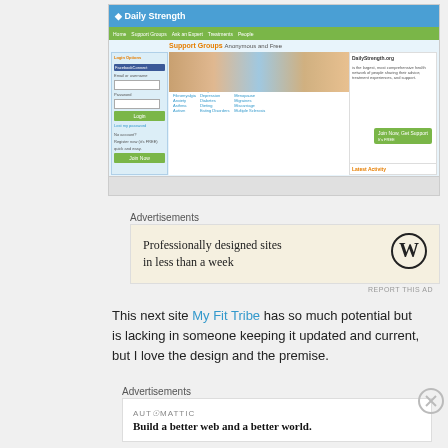[Figure (screenshot): Screenshot of DailyStrength.org website showing support groups page with navigation, login panel, group photos, and popular groups listing.]
Advertisements
[Figure (screenshot): Advertisement banner: 'Professionally designed sites in less than a week' with WordPress logo]
REPORT THIS AD
This next site My Fit Tribe has so much potential but is lacking in someone keeping it updated and current, but I love the design and the premise.
Advertisements
[Figure (screenshot): Automattic advertisement: 'Build a better web and a better world.']